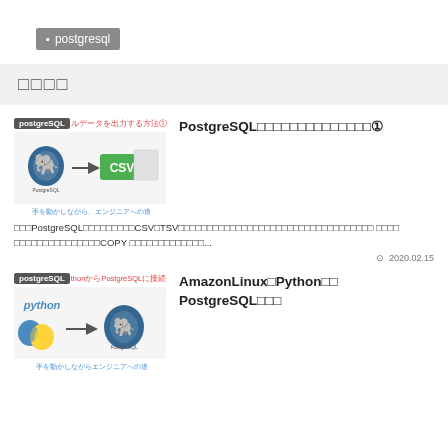postgresql
□□□□
[Figure (screenshot): Thumbnail image for PostgreSQL CSV/TSV output article with postgreSQL tag and red label text, showing PostgreSQL logo to CSV arrow diagram]
PostgreSQL□□□□□□□□□□□□□□①
□□□PostgreSQL□□□□□□□□□CSV□TSV□□□□□□□□□□□□□□□□□□□□□□□□□□□□□□□□□□ □□□□ □□□□□□□□□□□□□□□COPY □□□□□□□□□□□□□...
2020.02.15
[Figure (screenshot): Thumbnail image for AmazonLinux Python PostgreSQL connection article with postgreSQL tag, showing Python logo to PostgreSQL logo connection diagram]
AmazonLinux□Python□□ PostgreSQL□□□